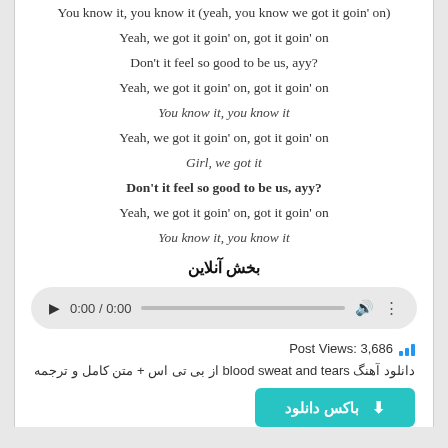You know it, you know it (yeah, you know we got it goin' on)
Yeah, we got it goin' on, got it goin' on
Don't it feel so good to be us, ayy?
Yeah, we got it goin' on, got it goin' on
You know it, you know it
Yeah, we got it goin' on, got it goin' on
Girl, we got it
Don't it feel so good to be us, ayy?
Yeah, we got it goin' on, got it goin' on
You know it, you know it
بخش آنلاین
[Figure (other): Audio player with play button, time display 0:00 / 0:00, progress bar, volume and menu icons]
Post Views: 3,686
دانلود آهنگ blood sweat and tears از بی تی اس + متن کامل و ترجمه
باکس دانلود